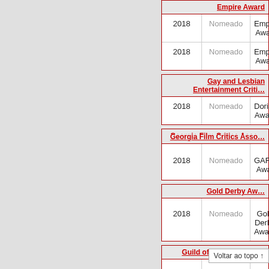| Year | Result | Award |
| --- | --- | --- |
| 2018 | Nomeado | Empire Award |
| 2018 | Nomeado | Empire Award |
| Year | Result | Award |
| --- | --- | --- |
| 2018 | Nomeado | Dorian Award |
| Year | Result | Award |
| --- | --- | --- |
| 2018 | Nomeado | GAFCA Award |
| Year | Result | Award |
| --- | --- | --- |
| 2018 | Nomeado | Gold Derby Award |
| Year | Result | Award |
| --- | --- | --- |
| 2018 | Nomeado | GMS Award |
| 2018 | Nomeado | GMS Award |
| Year | Result | Award |
| --- | --- | --- |
| 2018 | Ganhou | HFCS |